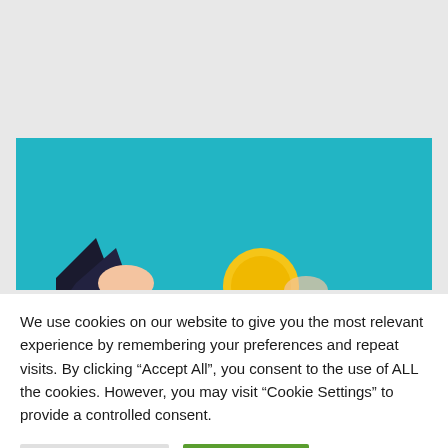[Figure (illustration): A teal/cyan colored banner image with a cartoon illustration at the bottom showing a figure and a yellow coin/circle element against the teal background.]
We use cookies on our website to give you the most relevant experience by remembering your preferences and repeat visits. By clicking “Accept All”, you consent to the use of ALL the cookies. However, you may visit "Cookie Settings" to provide a controlled consent.
Cookie Settings
Accept All